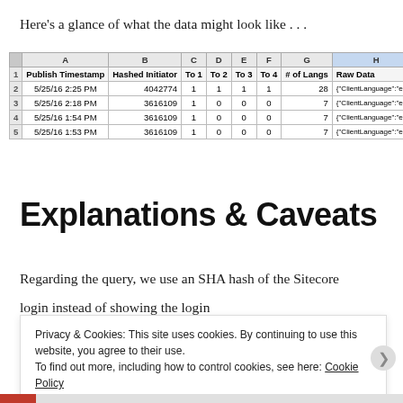Here's a glance of what the data might look like . . .
|  | A | B | C | D | E | F | G | H | I |
| --- | --- | --- | --- | --- | --- | --- | --- | --- | --- |
| 1 | Publish Timestamp | Hashed Initiator | To 1 | To 2 | To 3 | To 4 | # of Langs | Raw Data |  |
| 2 | 5/25/16 2:25 PM | 4042774 | 1 | 1 | 1 | 1 | 28 | {"ClientLanguage":"en","I |  |
| 3 | 5/25/16 2:18 PM | 3616109 | 1 | 0 | 0 | 0 | 7 | {"ClientLanguage":"en","I |  |
| 4 | 5/25/16 1:54 PM | 3616109 | 1 | 0 | 0 | 0 | 7 | {"ClientLanguage":"en","I |  |
| 5 | 5/25/16 1:53 PM | 3616109 | 1 | 0 | 0 | 0 | 7 | {"ClientLanguage":"en" "I |  |
Explanations & Caveats
Regarding the query, we use an SHA hash of the Sitecore login instead of showing the login (Username) in plain
Privacy & Cookies: This site uses cookies. By continuing to use this website, you agree to their use.
To find out more, including how to control cookies, see here: Cookie Policy